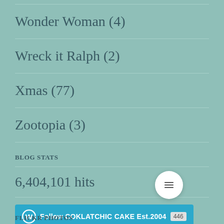Wonder Woman (4)
Wreck it Ralph (2)
Xmas (77)
Zootopia (3)
Blog Stats
6,404,101 hits
Follow COKLATCHIC CAKE Est.2004
Flickr Photos